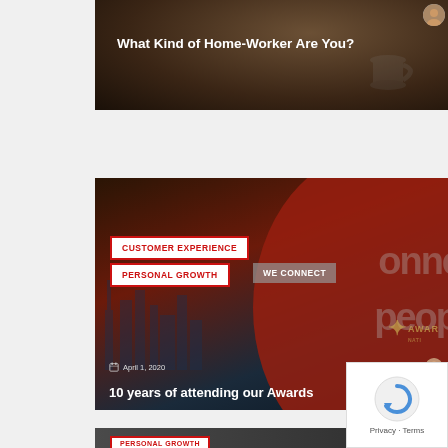[Figure (screenshot): Blog card image showing a coffee cup on a desk with the title 'What Kind of Home-Worker Are You?' overlaid in white bold text. A small avatar is visible in the top right corner.]
What Kind of Home-Worker Are You?
[Figure (screenshot): Blog card with dark reddish-brown background featuring city skyline, decorative text 'onne' and 'peop' (partial 'connect people'), tag labels 'CUSTOMER EXPERIENCE', 'PERSONAL GROWTH', 'WE CONNECT', Awards International logo, date April 1 2020, author Marijana Vitas with avatar, and article title '10 years of attending our Awards'.]
CUSTOMER EXPERIENCE
PERSONAL GROWTH
WE CONNECT
April 1, 2020
Marijana Vitas
10 years of attending our Awards
[Figure (screenshot): Partial blog card with dark gray background and 'PERSONAL GROWTH' tag label visible at the bottom of the page.]
PERSONAL GROWTH
[Figure (other): reCAPTCHA widget overlay in the bottom-right corner showing a circular arrow icon and 'Privacy - Terms' text.]